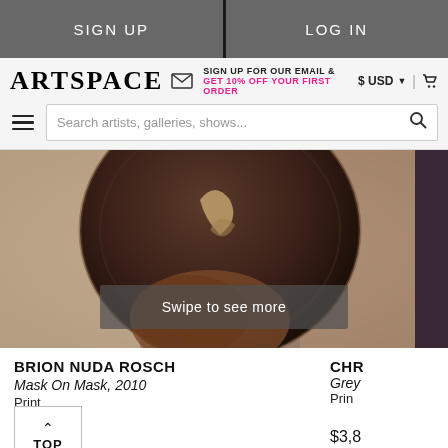SIGN UP | LOG IN
ARTSPACE — SIGN UP FOR OUR EMAIL & GET 10% OFF YOUR FIRST ORDER — $ USD | cart
Search artists, galleries, shows...
[Figure (photo): Close-up photograph of a decorative mask artwork, dark tones with ornate details. Overlay text reads 'Swipe to see more'.]
Swipe to see more
BRION NUDA ROSCH
Mask On Mask, 2010
Print
$100
CHR...
Grey...
Print
$3,8...
TOP
SEE ALL